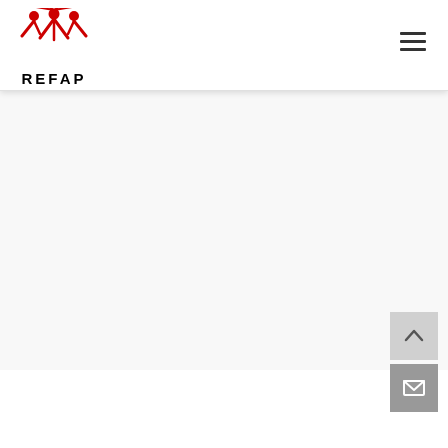[Figure (logo): REFAP logo with red stylized figures and bold black REFAP text]
[Figure (other): Hamburger menu icon (three horizontal lines)]
[Figure (other): Scroll-to-top button (up arrow on light gray background)]
[Figure (other): Contact/email button (envelope icon on dark gray background)]